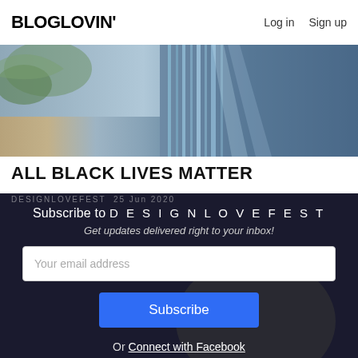BLOGLOVIN'   Log in   Sign up
[Figure (photo): Hero image of a blue architectural structure with light rays, shown against a blurred natural background]
ALL BLACK LIVES MATTER
DESIGNLOVEFEST  25 Jun 2020
Subscribe to DESIGNLOVEFEST
Get updates delivered right to your inbox!
Your email address
Subscribe
Or Connect with Facebook
Already have an account? Login
Will be used in accordance with our Terms of Service